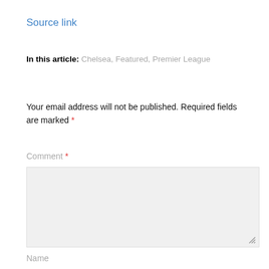Source link
In this article: Chelsea, Featured, Premier League
Your email address will not be published. Required fields are marked *
Comment *
Name